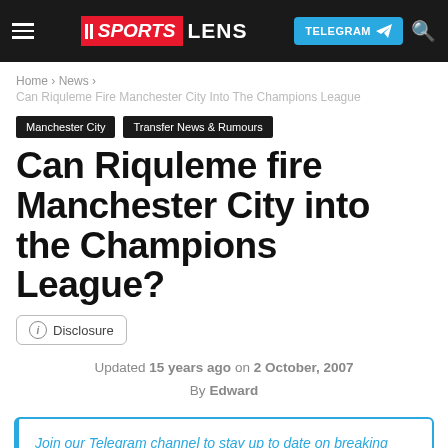SPORTS LENS | TELEGRAM
Home › News › Can Riquleme Fire Manchester City Into The Champions League
Manchester City | Transfer News & Rumours
Can Riquleme fire Manchester City into the Champions League?
ⓘ Disclosure
Updated 15 years ago on 2 October, 2007 By Edward
Join our Telegram channel to stay up to date on breaking news coverage